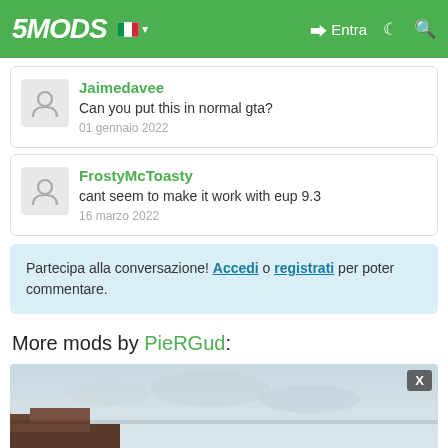5MODS — Entra
Jaimedavee
Can you put this in normal gta?
01 gennaio 2022
FrostyMcToasty
cant seem to make it work with eup 9.3
16 marzo 2022
Partecipa alla conversazione! Accedi o registrati per poter commentare.
More mods by PieRGud:
[Figure (photo): Partial view of a mod image with sky and building, with a close X button]